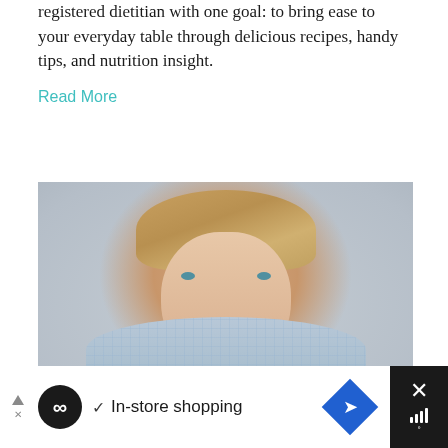registered dietitian with one goal: to bring ease to your everyday table through delicious recipes, handy tips, and nutrition insight.
Read More
[Figure (photo): Portrait photo of a smiling middle-aged woman with short blonde hair and blue eyes, wearing a blue gingham/checkered shirt, photographed against a light gray background.]
In-store shopping